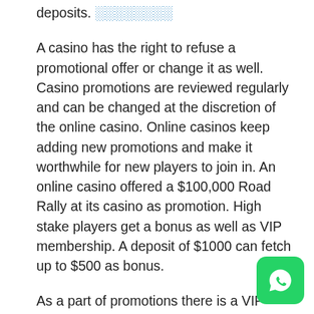deposits. ░░░░░░░░
A casino has the right to refuse a promotional offer or change it as well. Casino promotions are reviewed regularly and can be changed at the discretion of the online casino. Online casinos keep adding new promotions and make it worthwhile for new players to join in. An online casino offered a $100,000 Road Rally at its casino as promotion. High stake players get a bonus as well as VIP membership. A deposit of $1000 can fetch up to $500 as bonus.
As a part of promotions there is a VIP Loyalty program which is something like the frequent flyer program of an airline. The more you play the more rewards you can get. Every 100 points can get a dollar in chips. So you are rewarded by the online casino for your loyalty.
Online casinos offer the users a number of promotions is important to keep abreast of all these promotions. These
[Figure (logo): WhatsApp logo button — green rounded square with white phone handset icon]